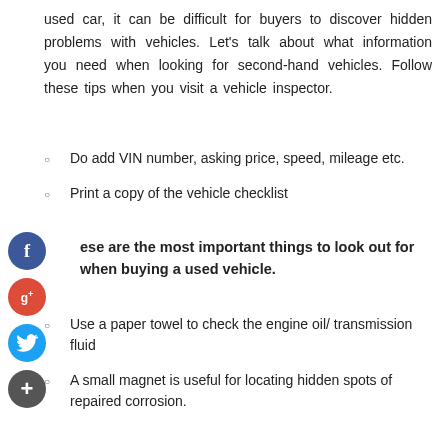used car, it can be difficult for buyers to discover hidden problems with vehicles. Let's talk about what information you need when looking for second-hand vehicles. Follow these tips when you visit a vehicle inspector.
Do add VIN number, asking price, speed, mileage etc.
Print a copy of the vehicle checklist
These are the most important things to look out for when buying a used vehicle.
Use a paper towel to check the engine oil/transmission fluid
A small magnet is useful for locating hidden spots of repaired corrosion.